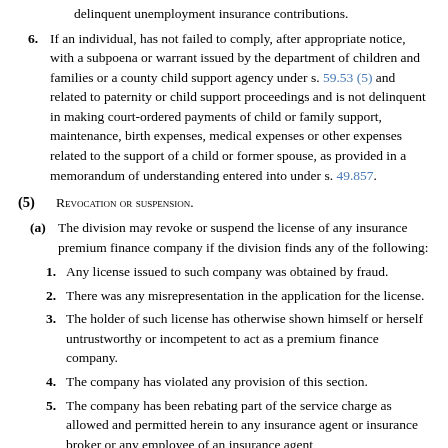delinquent unemployment insurance contributions.
6. If an individual, has not failed to comply, after appropriate notice, with a subpoena or warrant issued by the department of children and families or a county child support agency under s. 59.53 (5) and related to paternity or child support proceedings and is not delinquent in making court-ordered payments of child or family support, maintenance, birth expenses, medical expenses or other expenses related to the support of a child or former spouse, as provided in a memorandum of understanding entered into under s. 49.857.
(5) Revocation or suspension.
(a) The division may revoke or suspend the license of any insurance premium finance company if the division finds any of the following:
1. Any license issued to such company was obtained by fraud.
2. There was any misrepresentation in the application for the license.
3. The holder of such license has otherwise shown himself or herself untrustworthy or incompetent to act as a premium finance company.
4. The company has violated any provision of this section.
5. The company has been rebating part of the service charge as allowed and permitted herein to any insurance agent or insurance broker or any employee of an insurance agent